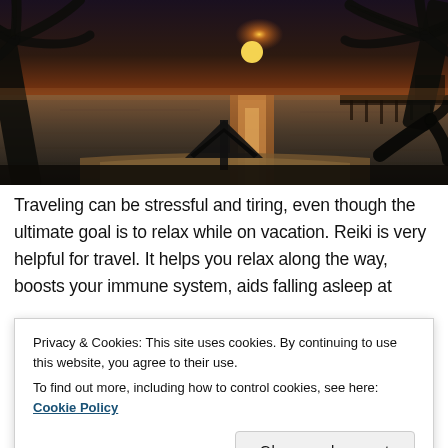[Figure (photo): Tropical beach sunset scene viewed from above, showing ocean water with orange-gold reflections, palm tree silhouettes on both sides, a thatched umbrella hut on the beach, and a wooden pier extending into the water on the right]
Traveling can be stressful and tiring, even though the ultimate goal is to relax while on vacation. Reiki is very helpful for travel. It helps you relax along the way, boosts your immune system, aids falling asleep at
Privacy & Cookies: This site uses cookies. By continuing to use this website, you agree to their use.
To find out more, including how to control cookies, see here: Cookie Policy
Close and accept
to remember to pack it.